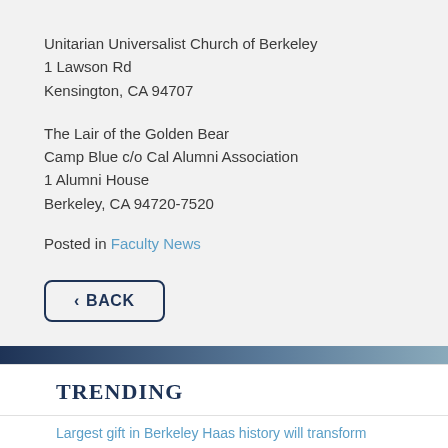Unitarian Universalist Church of Berkeley
1 Lawson Rd
Kensington, CA 94707
The Lair of the Golden Bear
Camp Blue c/o Cal Alumni Association
1 Alumni House
Berkeley, CA 94720-7520
Posted in Faculty News
‹ BACK
TRENDING
Largest gift in Berkeley Haas history will transform